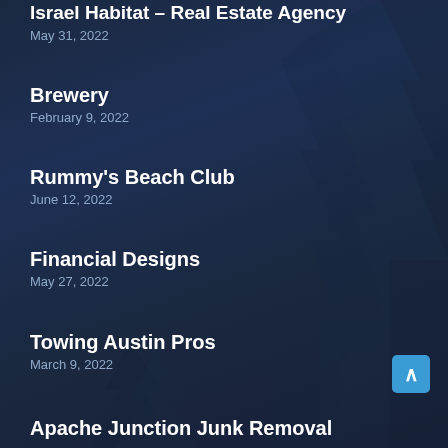Israel Habitat – Real Estate Agency
May 31, 2022
Brewery
February 9, 2022
Rummy's Beach Club
June 12, 2022
Financial Designs
May 27, 2022
Towing Austin Pros
March 9, 2022
Apache Junction Junk Removal